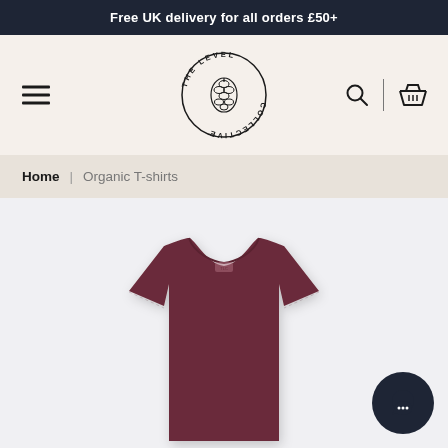Free UK delivery for all orders £50+
[Figure (logo): The Level Collective brand logo — circular text reading THE LEVEL COLLECTIVE with a pine cone illustration in the center]
Home | Organic T-shirts
[Figure (photo): A dark burgundy/maroon organic cotton crew-neck t-shirt laid flat on a light grey background, with a small brand label visible at the neckline]